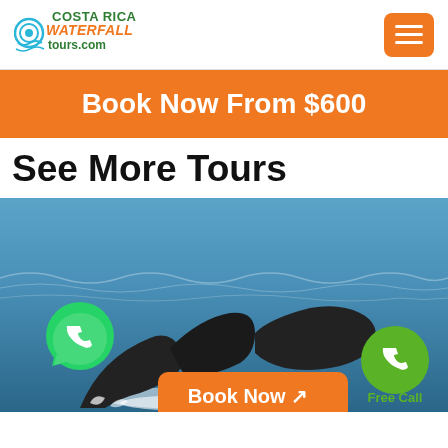[Figure (logo): Costa Rica Waterfall Tours logo with blue wave/waterfall graphic]
Book Now From $600
See More Tours
[Figure (photo): Whale tail emerging from ocean water, with WhatsApp icon, Book Now button, and Free Call button overlaid]